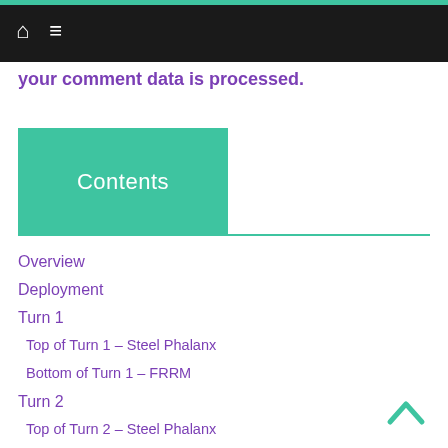Navigation bar with home and menu icons
your comment data is processed.
Contents
Overview
Deployment
Turn 1
Top of Turn 1 – Steel Phalanx
Bottom of Turn 1 – FRRM
Turn 2
Top of Turn 2 – Steel Phalanx
Bottom of Turn 2 – FRRM
Turn 3
Top of Turn 3 – Steel Phalanx
Bottom of Turn 3 – FRRM